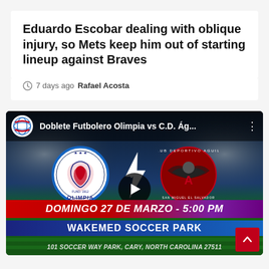Eduardo Escobar dealing with oblique injury, so Mets keep him out of starting lineup against Braves
7 days ago  Rafael Acosta
[Figure (screenshot): Video thumbnail for 'Doblete Futbolero Olimpia vs C.D. Ág...' showing Olimpia vs Club Deportivo Aguila football match. Features team logos, vs lightning graphic, play button, and event info: DOMINGO 27 DE MARZO - 5:00 PM, WAKEMED SOCCER PARK, 101 SOCCER WAY PARK, CARY, NORTH CAROLINA 27511]